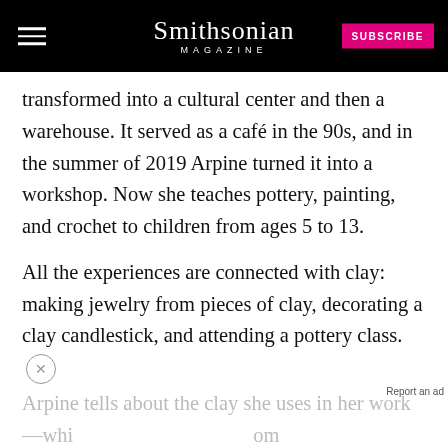Smithsonian MAGAZINE
transformed into a cultural center and then a warehouse. It served as a café in the 90s, and in the summer of 2019 Arpine turned it into a workshop. Now she teaches pottery, painting, and crochet to children from ages 5 to 13.
All the experiences are connected with clay: making jewelry from pieces of clay, decorating a clay candlestick, and attending a pottery class.
Arpine tells about the clay she uses in her work —wh... ...om the clay of Areni and other places in Armenia.